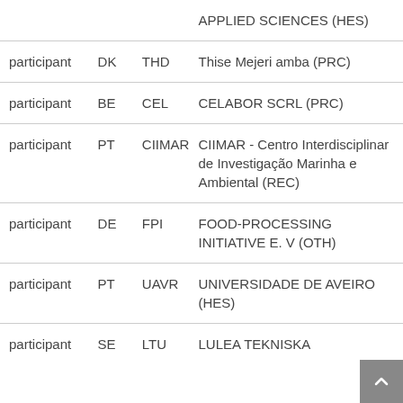| Role | Country | Short Name | Organisation |
| --- | --- | --- | --- |
|  |  |  | APPLIED SCIENCES (HES) |
| participant | DK | THD | Thise Mejeri amba (PRC) |
| participant | BE | CEL | CELABOR SCRL (PRC) |
| participant | PT | CIIMAR | CIIMAR - Centro Interdisciplinar de Investigação Marinha e Ambiental (REC) |
| participant | DE | FPI | FOOD-PROCESSING INITIATIVE E. V (OTH) |
| participant | PT | UAVR | UNIVERSIDADE DE AVEIRO (HES) |
| participant | SE | LTU | LULEA TEKNISKA |